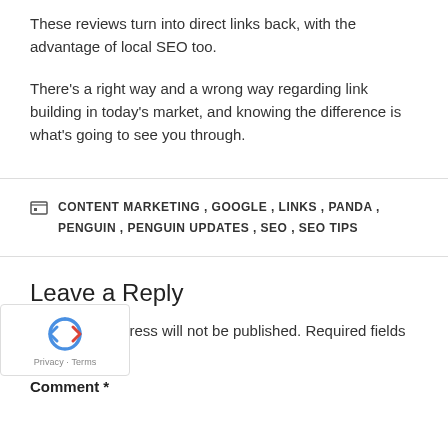These reviews turn into direct links back, with the advantage of local SEO too.
There's a right way and a wrong way regarding link building in today's market, and knowing the difference is what's going to see you through.
CONTENT MARKETING , GOOGLE , LINKS , PANDA , PENGUIN , PENGUIN UPDATES , SEO , SEO TIPS
Leave a Reply
Your email address will not be published. Required fields are marked *
Comment *